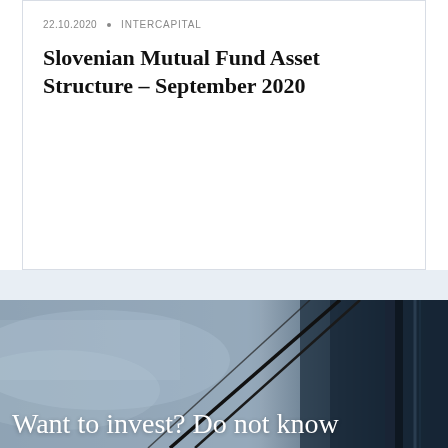22.10.2020 · INTERCAPITAL
Slovenian Mutual Fund Asset Structure – September 2020
[Figure (photo): Abstract architectural photo showing diagonal black lines/cables against a grey-blue sky background, used as decorative banner image]
Want to invest? Do not know